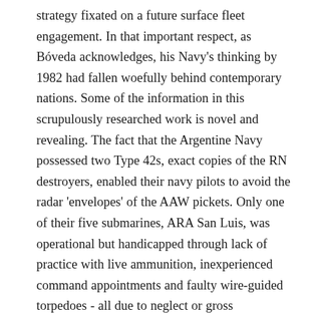strategy fixated on a future surface fleet engagement. In that important respect, as Bóveda acknowledges, his Navy's thinking by 1982 had fallen woefully behind contemporary nations. Some of the information in this scrupulously researched work is novel and revealing. The fact that the Argentine Navy possessed two Type 42s, exact copies of the RN destroyers, enabled their navy pilots to avoid the radar 'envelopes' of the AAW pickets. Only one of their five submarines, ARA San Luis, was operational but handicapped through lack of practice with live ammunition, inexperienced command appointments and faulty wire-guided torpedoes - all due to neglect or gross underfunding. Surprisingly, the surface fleet's withdrawal following the sinking of the cruiser General Belgrano was not wholly accounted for by the continuing presence of the RN's SSNs. It needed to be held in check in the expectation of a future clash with the Chilean